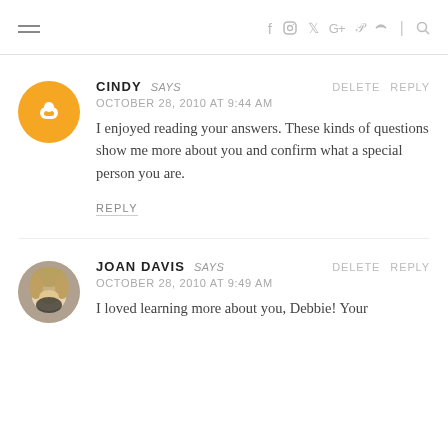≡  f  ⊙  𝕥  G+  𝓟  ⊳  |  🔍
CINDY SAYS  DELETE  REPLY
OCTOBER 28, 2010 AT 9:44 AM
I enjoyed reading your answers. These kinds of questions show me more about you and confirm what a special person you are.
REPLY
JOAN DAVIS SAYS  DELETE  REPLY
OCTOBER 28, 2010 AT 9:49 AM
I loved learning more about you, Debbie! Your